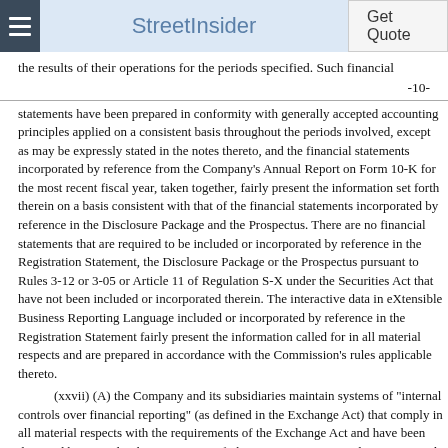StreetInsider | Get Quote
the results of their operations for the periods specified. Such financial
-10-
statements have been prepared in conformity with generally accepted accounting principles applied on a consistent basis throughout the periods involved, except as may be expressly stated in the notes thereto, and the financial statements incorporated by reference from the Company's Annual Report on Form 10-K for the most recent fiscal year, taken together, fairly present the information set forth therein on a basis consistent with that of the financial statements incorporated by reference in the Disclosure Package and the Prospectus. There are no financial statements that are required to be included or incorporated by reference in the Registration Statement, the Disclosure Package or the Prospectus pursuant to Rules 3-12 or 3-05 or Article 11 of Regulation S-X under the Securities Act that have not been included or incorporated therein. The interactive data in eXtensible Business Reporting Language included or incorporated by reference in the Registration Statement fairly present the information called for in all material respects and are prepared in accordance with the Commission's rules applicable thereto.
(xxvii) (A) the Company and its subsidiaries maintain systems of "internal control over financial reporting" (as defined in the Exchange Act) that comply in all material respects with the requirements of the Exchange Act and have been designed by, or under the supervision of, their respective principal executive and principal financial officers, or persons performing similar functions, to provide reasonable assurance regarding the reliability of financial reporting and the preparation of financial statements for external purposes in accordance with generally accepted accounting principles and (B) the Company's internal controls include policies and procedures that (i) pertain to the maintenance of records that, in reasonable detail, accurately and fairly reflect the transactions and dispositions of the assets of the Company; (ii) provide reasonable assurance that transactions are recorded as necessary to permit preparation of financial statements in conformity with accounting principles generally accepted in the United States and that receipts and expenditures of the Company are being made only in accordance with authorizations of management